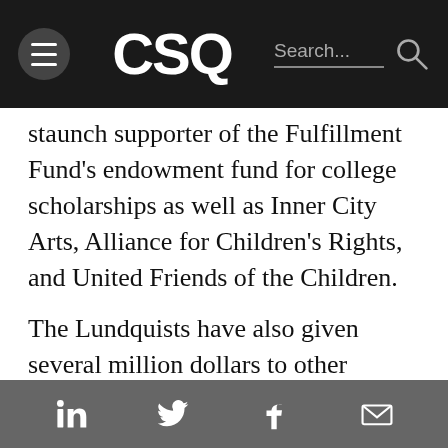CSQ — Navigation bar with hamburger menu, CSQ logo, and search
staunch supporter of the Fulfillment Fund's endowment fund for college scholarships as well as Inner City Arts, Alliance for Children's Rights, and United Friends of the Children.
The Lundquists have also given several million dollars to other worthy causes, including more than $3M to the University of the Pacific's Arthur A. Dugoni School of Dentistry, $1M to the campus renovation of the Los Angeles Biomedical Research Institute (LA BioMed), and $2M to South Bay Sports, Health, and Recreation for a new
Social share icons: LinkedIn, Twitter, Facebook, Email